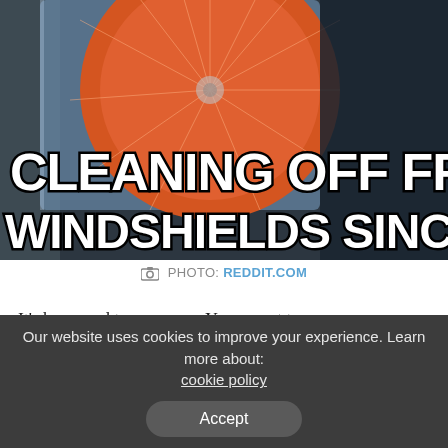[Figure (photo): A CD case being held, showing an orange disc-like design inside a clear plastic jewel case, used as an improvised ice scraper for car windshields. Bold white meme-style text overlay reads: CLEANING OFF FROSTY WINDSHIELDS SINCE 1982]
PHOTO: REDDIT.COM
It's happened to everyone: You go out to your car on a bitterly cold snowy morning, only to find you've lost your ice scraper. If you happen to have a CD case in your car or home, you can
Our website uses cookies to improve your experience. Learn more about: cookie policy
Accept